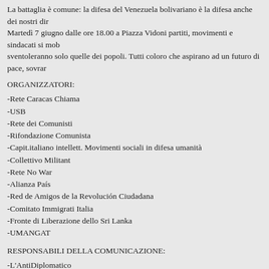La battaglia è comune: la difesa del Venezuela bolivariano è la difesa anche dei nostri diritti. Martedì 7 giugno dalle ore 18.00 a Piazza Vidoni partiti, movimenti e sindacati si mob... sventoleranno solo quelle dei popoli. Tutti coloro che aspirano ad un futuro di pace, sovran...
ORGANIZZATORI:
-Rete Caracas Chiama
-USB
-Rete dei Comunisti
-Rifondazione Comunista
-Capit.italiano intellett. Movimenti sociali in difesa umanità
-Collettivo Militant
-Rete No War
-Alianza País
-Red de Amigos de la Revolución Ciudadana
-Comitato Immigrati Italia
-Fronte di Liberazione dello Sri Lanka
-UMANGAT
RESPONSABILI DELLA COMUNICAZIONE:
-L'AntiDiplomatico
-Contropiano
-Cestes
-Nuestra America